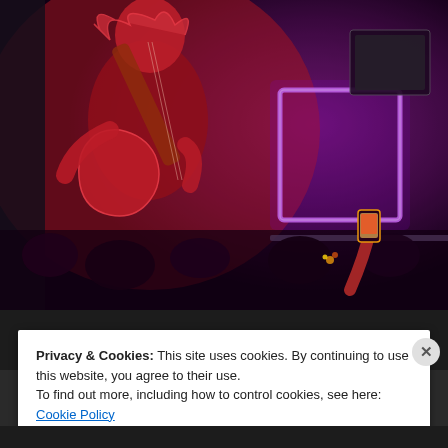[Figure (photo): Concert photo showing a guitarist in red/pink lighting holding up a guitar, with a crowd in the foreground and a neon purple/pink rectangular light on stage in the background. Someone in the crowd is holding up a phone to take a photo.]
Privacy & Cookies: This site uses cookies. By continuing to use this website, you agree to their use.
To find out more, including how to control cookies, see here: Cookie Policy
Close and accept